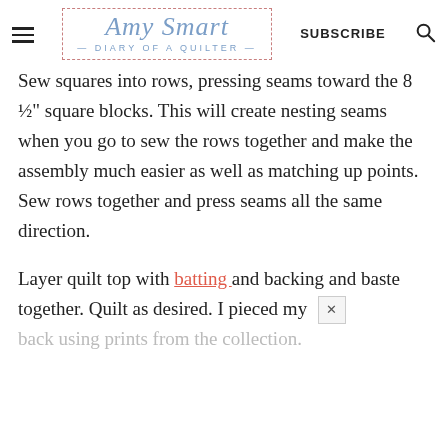Amy Smart — DIARY of a QUILTER — [SUBSCRIBE] [Search]
Sew squares into rows, pressing seams toward the 8 ½" square blocks. This will create nesting seams when you go to sew the rows together and make the assembly much easier as well as matching up points. Sew rows together and press seams all the same direction.
Layer quilt top with batting and backing and baste together. Quilt as desired. I pieced my back using prints from the collection.